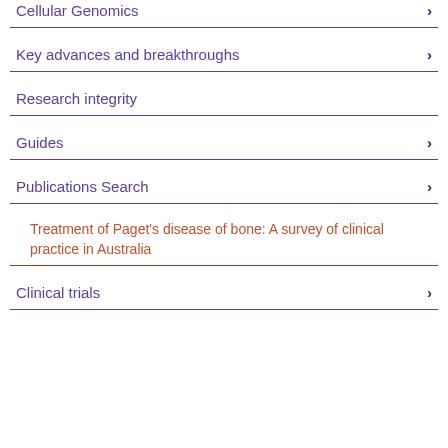Cellular Genomics
Key advances and breakthroughs
Research integrity
Guides
Publications Search
Treatment of Paget's disease of bone: A survey of clinical practice in Australia
Clinical trials